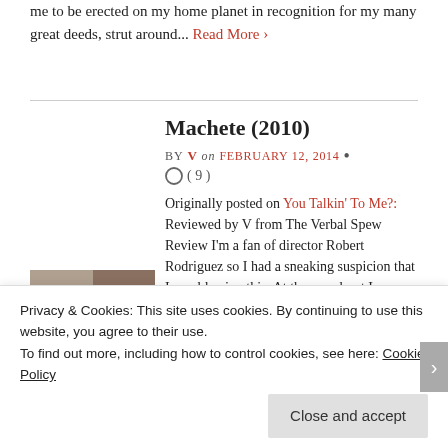me to be erected on my home planet in recognition for my many great deeds, strut around... Read More ›
Machete (2010)
BY V on FEBRUARY 12, 2014 • ( 9 )
[Figure (photo): Thumbnail image for Machete (2010) showing film stills in a grid with red banner reading NALYZING DE NIR]
Originally posted on You Talkin' To Me?: Reviewed by V from The Verbal Spew Review I'm a fan of director Robert Rodriguez so I had a sneaking suspicion that I would enjoy this. At the very least I
Privacy & Cookies: This site uses cookies. By continuing to use this website, you agree to their use. To find out more, including how to control cookies, see here: Cookie Policy
Close and accept